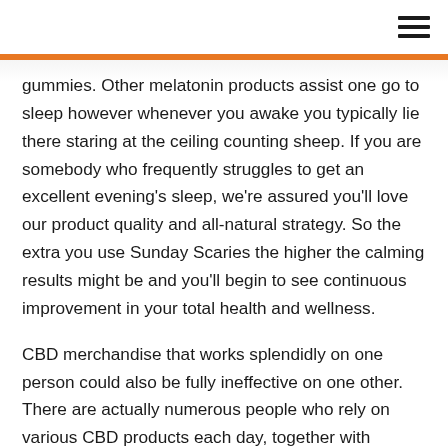≡
gummies. Other melatonin products assist one go to sleep however whenever you awake you typically lie there staring at the ceiling counting sheep. If you are somebody who frequently struggles to get an excellent evening's sleep, we're assured you'll love our product quality and all-natural strategy. So the extra you use Sunday Scaries the higher the calming results might be and you'll begin to see continuous improvement in your total health and wellness.
CBD merchandise that works splendidly on one person could also be fully ineffective on one other. There are actually numerous people who rely on various CBD products each day, together with gummies, vape oil pens, bathtub bombs, tinctures and more. Joy Organics proves that making CBD products THC-